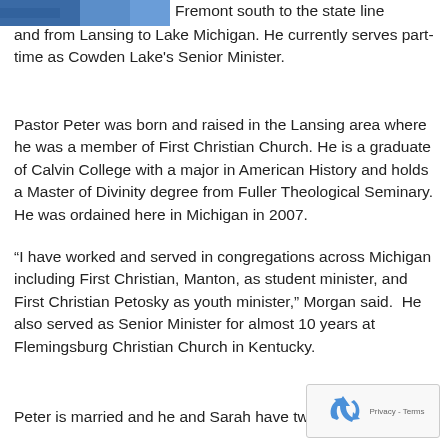[Figure (photo): Partial photo strip visible at top left of page, showing blue/dark colors — cropped image of person]
Fremont south to the state line and from Lansing to Lake Michigan. He currently serves part-time as Cowden Lake's Senior Minister.
Pastor Peter was born and raised in the Lansing area where he was a member of First Christian Church. He is a graduate of Calvin College with a major in American History and holds a Master of Divinity degree from Fuller Theological Seminary. He was ordained here in Michigan in 2007.
“I have worked and served in congregations across Michigan including First Christian, Manton, as student minister, and First Christian Petosky as youth minister,” Morgan said.  He also served as Senior Minister for almost 10 years at Flemingsburg Christian Church in Kentucky.
Peter is married and he and Sarah have two
[Figure (other): reCAPTCHA badge in bottom right corner with recycling-arrow icon and 'Privacy - Terms' text]